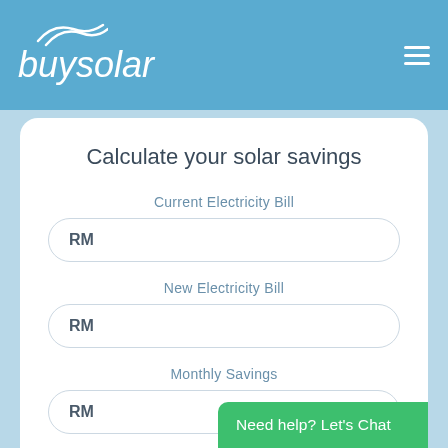buysolar
Calculate your solar savings
Current Electricity Bill
RM
New Electricity Bill
RM
Monthly Savings
RM
Need help? Let's Chat